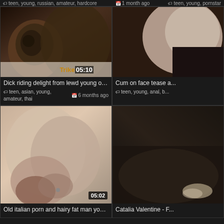teen, young, russian, amateur, hardcore | 1 month ago | teen, young, pornstar
[Figure (photo): Video thumbnail: young woman lying on bed, dark skin]
Dick riding delight from lewd young oriental woman ...
teen, asian, young, amateur, thai | 6 months ago
[Figure (photo): Video thumbnail: partial body close-up on dark couch]
Cum on face tease a...
teen, young, anal, b...
[Figure (photo): Video thumbnail: couple having sex close-up]
Old italian porn and hairy fat man young girl first time ...
[Figure (photo): Video thumbnail: person on dark couch, feet visible]
Catalia Valentine - F...